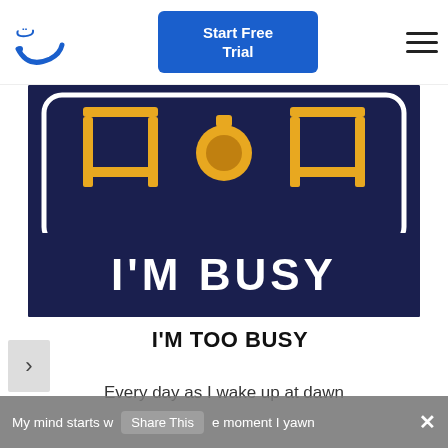[Figure (logo): Blue Arabic-style cursive logo mark]
Start Free Trial
[Figure (photo): Dark navy blue t-shirt with yellow chair graphics and white text reading I'M BUSY]
>
I'M TOO BUSY
Every day as I wake up at dawn
My mind starts working the moment I yawn